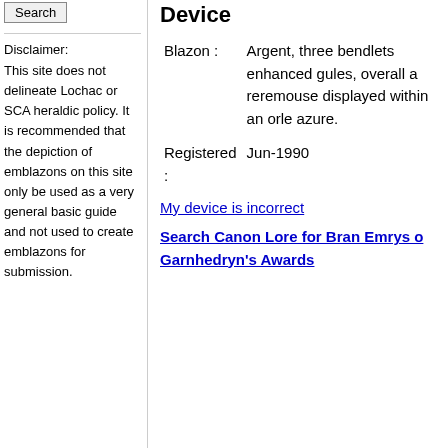Search
Disclaimer:
This site does not delineate Lochac or SCA heraldic policy.
It is recommended that the depiction of emblazons on this site only be used as a very general basic guide and not used to create emblazons for submission.
Device
| Blazon : | Argent, three bendlets enhanced gules, overall a reremouse displayed within an orle azure. |
| Registered : | Jun-1990 |
My device is incorrect
Search Canon Lore for Bran Emrys o Garnhedryn's Awards